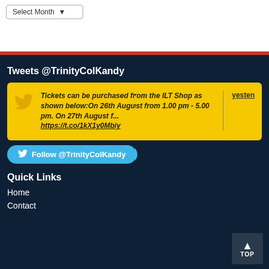Select Month
Tweets @TrinityColKandy
Tickets can be purchased from the ILT Shop as shown below:On 26th August from 1.00 pm - 5.00 pm. On 27th August f... https://t.co/1kX1y0Mbiy
yesten
Follow @TrinityColKandy
Quick Links
Home
Contact